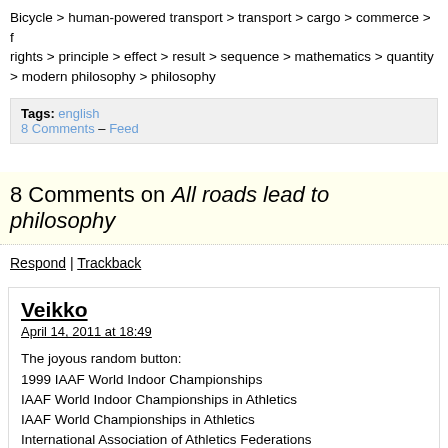Bicycle > human-powered transport > transport > cargo > commerce > f rights > principle > effect > result > sequence > mathematics > quantity > modern philosophy > philosophy
Tags: english
8 Comments – Feed
8 Comments on All roads lead to philosophy
Respond | Trackback
Veikko
April 14, 2011 at 18:49

The joyous random button:
1999 IAAF World Indoor Championships
IAAF World Indoor Championships in Athletics
IAAF World Championships in Athletics
International Association of Athletics Federations
Sport governing body
Sport
Organized
Corporation
State (polity)
Social sciences